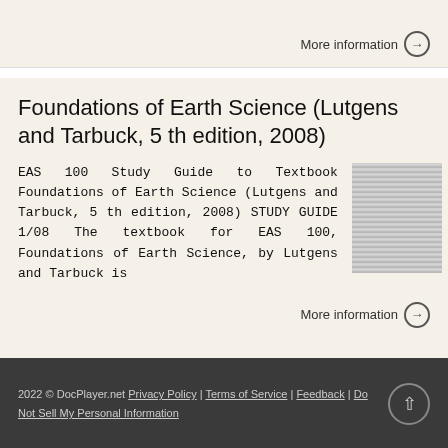More information →
Foundations of Earth Science (Lutgens and Tarbuck, 5 th edition, 2008)
EAS 100 Study Guide to Textbook Foundations of Earth Science (Lutgens and Tarbuck, 5 th edition, 2008) STUDY GUIDE 1/08 The textbook for EAS 100, Foundations of Earth Science, by Lutgens and Tarbuck is
[Figure (photo): Thumbnail image of the textbook cover or document page]
More information →
2022 © DocPlayer.net Privacy Policy | Terms of Service | Feedback | Do Not Sell My Personal Information